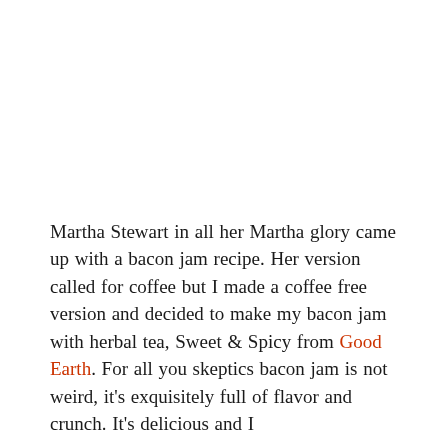Martha Stewart in all her Martha glory came up with a bacon jam recipe. Her version called for coffee but I made a coffee free version and decided to make my bacon jam with herbal tea, Sweet & Spicy from Good Earth. For all you skeptics bacon jam is not weird, it's exquisitely full of flavor and crunch. It's delicious and I